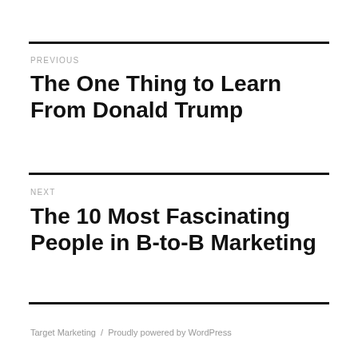PREVIOUS
The One Thing to Learn From Donald Trump
NEXT
The 10 Most Fascinating People in B-to-B Marketing
Target Marketing  /  Proudly powered by WordPress